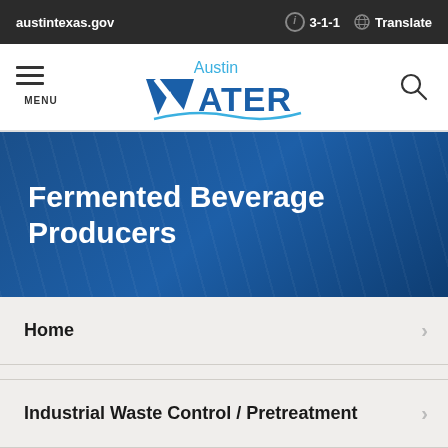austintextexas.gov  3-1-1  Translate
[Figure (logo): Austin Water logo with stylized water wave and 'W' in blue]
Fermented Beverage Producers
Home
Industrial Waste Control / Pretreatment